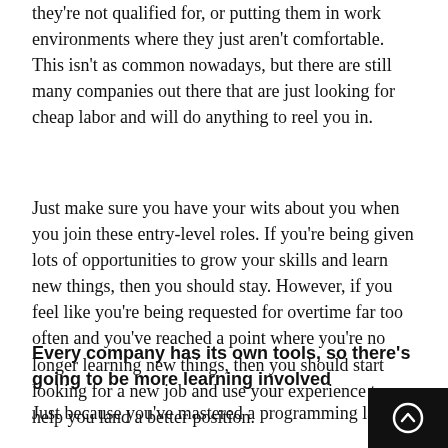they're not qualified for, or putting them in work environments where they just aren't comfortable. This isn't as common nowadays, but there are still many companies out there that are just looking for cheap labor and will do anything to reel you in.
Just make sure you have your wits about you when you join these entry-level roles. If you're being given lots of opportunities to grow your skills and learn new things, then you should stay. However, if you feel like you're being requested for overtime far too often and you've reached a point where you're no longer learning new things, then you should start looking for a new job and use your experience to help you land a better position.
Every company has its own tools, so there's going to be more learning involved
Just because you've mastered a programming langua...